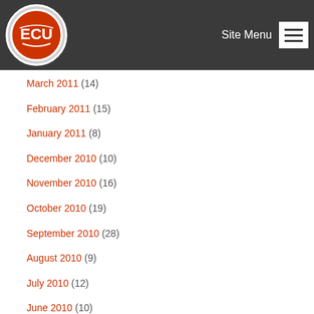East Central University — Site Menu
March 2011 (14)
February 2011 (15)
January 2011 (8)
December 2010 (10)
November 2010 (16)
October 2010 (19)
September 2010 (28)
August 2010 (9)
July 2010 (12)
June 2010 (10)
May 2010 (15)
April 2010 (28)
March 2010 (23)